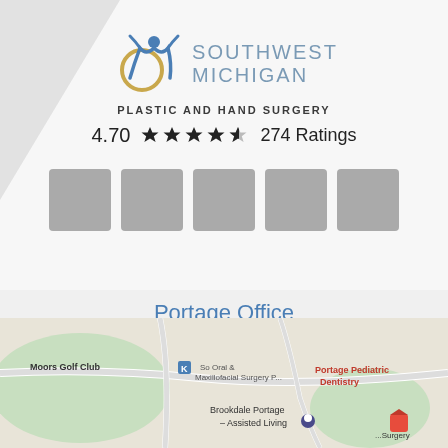[Figure (logo): Southwest Michigan Plastic and Hand Surgery logo with blue figure and gold circle]
SOUTHWEST MICHIGAN
PLASTIC AND HAND SURGERY
4.70 ★★★★★ 274 Ratings
[Figure (photo): Five gray placeholder image boxes in a row]
Portage Office
[Figure (map): Google Maps view showing Portage Office area with Moors Golf Club, Portage Pediatric Dentistry, Brookdale Portage Assisted Living]